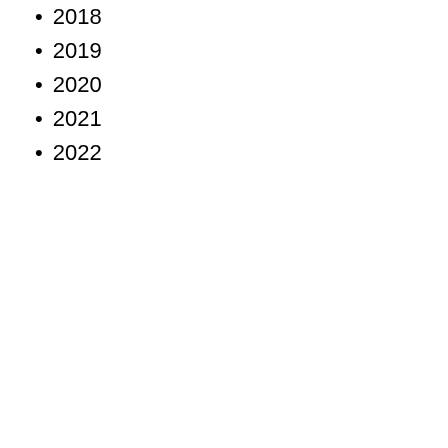2018
2019
2020
2021
2022
Brusen
Managi
Pp.
Nurgali
Transitio
challeng
Pp.
Brostre
Unpaid
Pp.
Beleko
Russia a